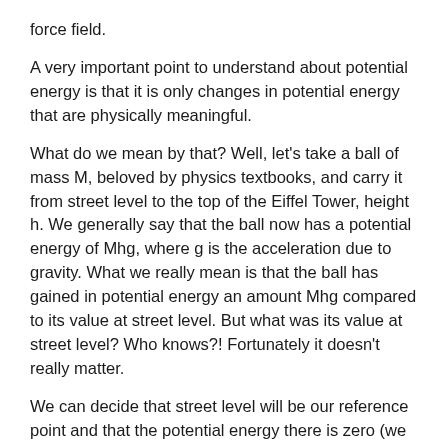force field.
A very important point to understand about potential energy is that it is only changes in potential energy that are physically meaningful.
What do we mean by that? Well, let's take a ball of mass M, beloved by physics textbooks, and carry it from street level to the top of the Eiffel Tower, height h. We generally say that the ball now has a potential energy of Mhg, where g is the acceleration due to gravity. What we really mean is that the ball has gained in potential energy an amount Mhg compared to its value at street level. But what was its value at street level? Who knows?! Fortunately it doesn't really matter.
We can decide that street level will be our reference point and that the potential energy there is zero (we could choose another number or make the top of the Eiffel Tower our reference point but that would not be so convenient).
Now if we take our ball to the top of Notre Dame cathedral, height t above street level, we say its potential energy is Mtg (we now know it is really relative potential energy but we drop the word relative) and we can compare it in a meaningful way to the potential energy when at the top of